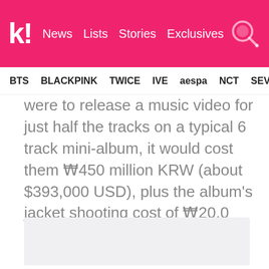k! News Lists Stories Exclusives
BTS BLACKPINK TWICE IVE aespa NCT SEVE
were to release a music video for just half the tracks on a typical 6 track mini-album, it would cost them ₩450 million KRW (about $393,000 USD), plus the album's jacket shooting cost of ₩20.0 million KRW (about $17,500 USD) !
[Figure (other): Advertisement or image placeholder (gray box)]